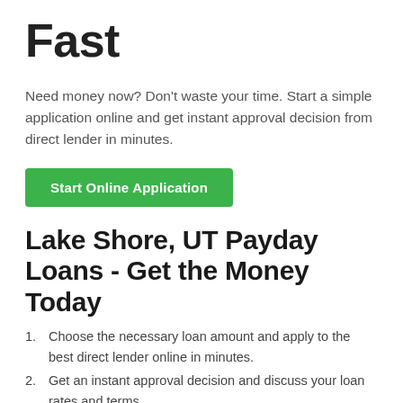Fast
Need money now? Don't waste your time. Start a simple application online and get instant approval decision from direct lender in minutes.
[Figure (other): Green call-to-action button labeled 'Start Online Application']
Lake Shore, UT Payday Loans - Get the Money Today
Choose the necessary loan amount and apply to the best direct lender online in minutes.
Get an instant approval decision and discuss your loan rates and terms.